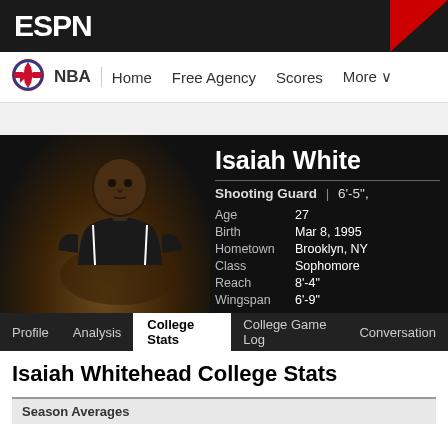ESPN
NBA | Home | Free Agency | Scores | More
[Figure (photo): Isaiah Whitehead player photo on dark background]
Isaiah White (head truncated) - Shooting Guard | 6'-5", Age: 27, Birth: Mar 8, 1995, Hometown: Brooklyn, NY, Class: Sophomore, Reach: 8'-4", Wingspan: 6'-9"
Profile | Analysis | College Stats | College Game Log | Conversation
Isaiah Whitehead College Stats
Season Averages